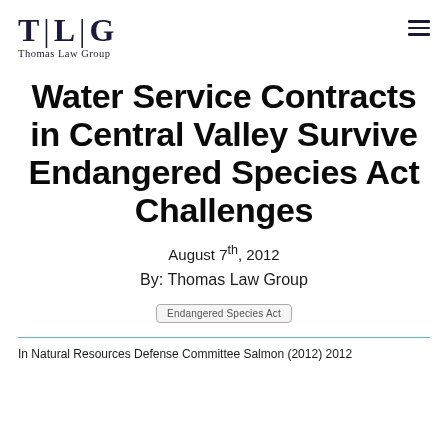T|L|G Thomas Law Group
Water Service Contracts in Central Valley Survive Endangered Species Act Challenges
August 7th, 2012
By: Thomas Law Group
Endangered Species Act
In Natural Resources Defense Committee Salmon (2012) 2012...